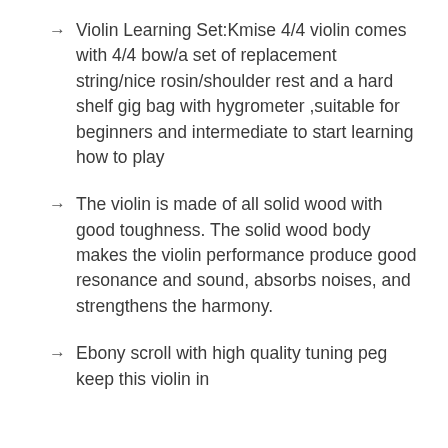Violin Learning Set:Kmise 4/4 violin comes with 4/4 bow/a set of replacement string/nice rosin/shoulder rest and a hard shelf gig bag with hygrometer ,suitable for beginners and intermediate to start learning how to play
The violin is made of all solid wood with good toughness. The solid wood body makes the violin performance produce good resonance and sound, absorbs noises, and strengthens the harmony.
Ebony scroll with high quality tuning peg keep this violin in